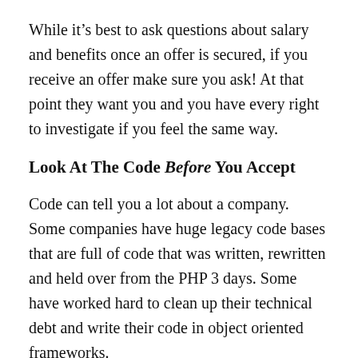While it's best to ask questions about salary and benefits once an offer is secured, if you receive an offer make sure you ask! At that point they want you and you have every right to investigate if you feel the same way.
Look At The Code Before You Accept
Code can tell you a lot about a company. Some companies have huge legacy code bases that are full of code that was written, rewritten and held over from the PHP 3 days. Some have worked hard to clean up their technical debt and write their code in object oriented frameworks. Whatever state the code is in, it's crucial that if